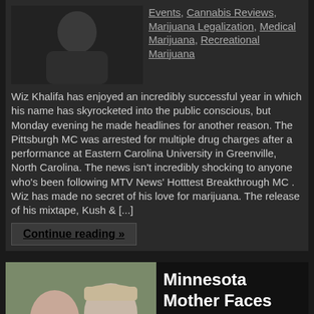Events, Cannabis Reviews, Marijuana Legalization, Medical Marijuana, Recreational Marijuana
Wiz Khalifa has enjoyed an incredibly successful year in which his name has skyrocketed into the public conscious, but Monday evening he made headlines for another reason. The Pittsburgh MC was arrested for multiple drug charges after a performance at Eastern Carolina University in Greenville, North Carolina. The news isn't incredibly shocking to anyone who's been following MTV News' Hotttest Breakthrough MC . Wiz has made no secret of his love for marijuana. The release of his mixtape, Kush & [...]
Continue reading »
[Figure (photo): Photo of two people, a mother and child, outdoors]
Minnesota Mother Faces Charges for Treating Child's